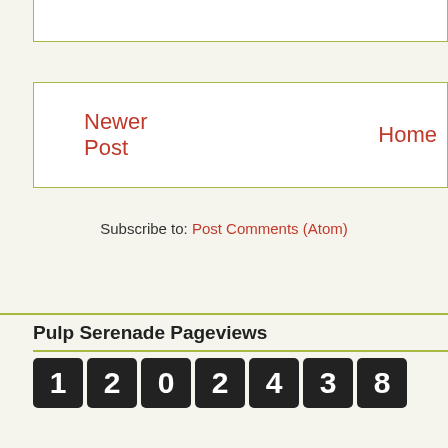Newer Post   Home
Subscribe to: Post Comments (Atom)
Pulp Serenade Pageviews
[Figure (other): Row of digit counter blocks showing: 1, 2, 0, 2, 4, 3, 8]